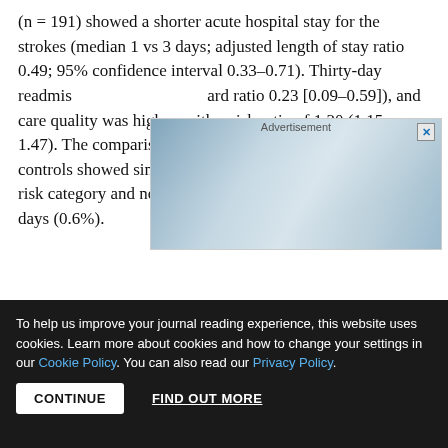(n = 191) showed a shorter acute hospital stay for the strokes (median 1 vs 3 days; adjusted length of stay ratio 0.49; 95% confidence interval 0.33–0.71). Thirty-day readmission was lower (hazard ratio 0.23 [0.09–0.59]), and care quality was higher, with a risk ratio of 1.30 (1.15–1.47). The comparison of stroke and TIAs to contemporary controls showed similar results. Only one patient in the low risk category and not admitted experienced stroke within 7 days (0.6%).
[Figure (other): Advertisement overlay with cloud background image and close button (X)]
To help us improve your journal reading experience, this website uses cookies. Learn more about cookies and how to change your settings in our Cookie Policy. You can also read our Privacy Policy.